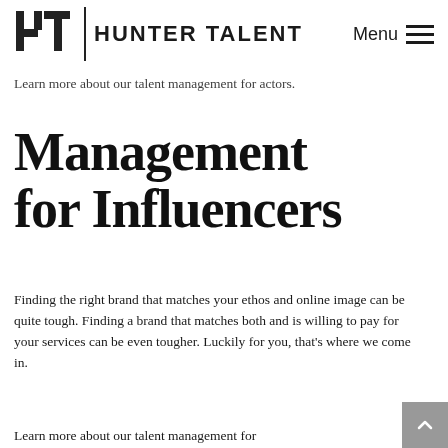Hunter Talent | Menu
Learn more about our talent management for actors.
Management for Influencers
Finding the right brand that matches your ethos and online image can be quite tough. Finding a brand that matches both and is willing to pay for your services can be even tougher. Luckily for you, that’s where we come in.
Learn more about our talent management for